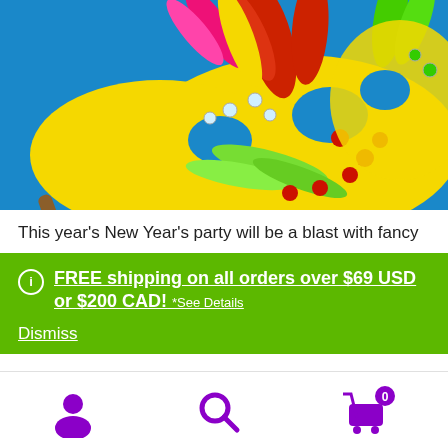[Figure (photo): Close-up photo of colorful carnival/masquerade masks decorated with feathers (red, pink, yellow, green) and gemstones/rhinestones on a blue background]
This year's New Year's party will be a blast with fancy
FREE shipping on all orders over $69 USD or $200 CAD! *See Details
Dismiss